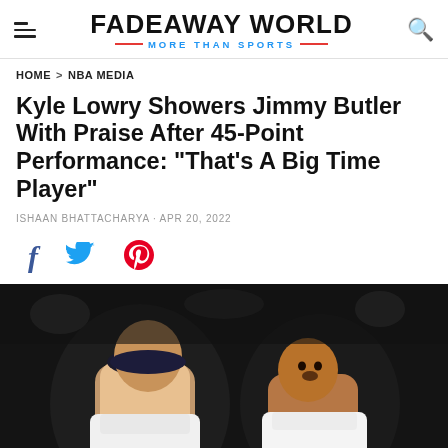FADEAWAY WORLD | MORE THAN SPORTS
HOME > NBA MEDIA
Kyle Lowry Showers Jimmy Butler With Praise After 45-Point Performance: "That's A Big Time Player"
ISHAAN BHATTACHARYA · APR 20, 2022
[Figure (other): Social sharing icons: Facebook, Twitter, Pinterest]
[Figure (photo): Two NBA players in white uniforms facing each other on a basketball court, dark background. Left player wearing headband, right player looking surprised.]